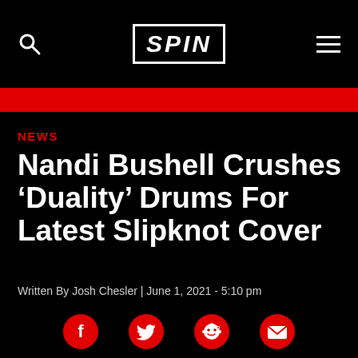SPIN
NEWS
Nandi Bushell Crushes ‘Duality’ Drums For Latest Slipknot Cover
Written By Josh Chesler | June 1, 2021  - 5:10 pm
[Figure (infographic): Social share icons: Facebook, Twitter, Reddit, Email]